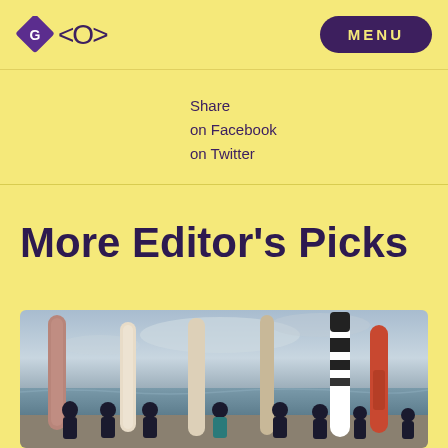GO <O> MENU
Share
on Facebook
on Twitter
More Editor's Picks
[Figure (photo): Group of surfers standing on a beach holding longboards of various colors (pink, white, striped black/white, red/orange), wearing wetsuits, cloudy sky and ocean in background]